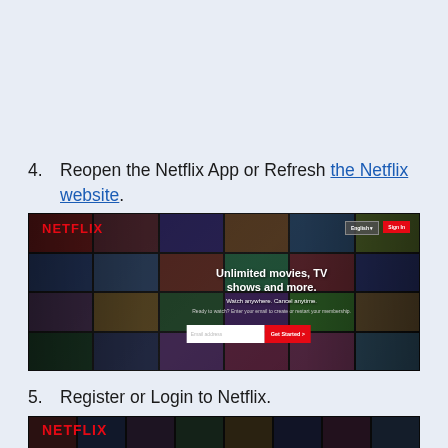4. Reopen the Netflix App or Refresh the Netflix website.
[Figure (screenshot): Screenshot of the Netflix homepage showing the 'Unlimited movies, TV shows and more. Watch anywhere. Cancel anytime.' landing page with movie collage background, email input, and Get Started button.]
5. Register or Login to Netflix.
[Figure (screenshot): Screenshot of the Netflix Sign In page with the Netflix logo and 'Sign In' text visible.]